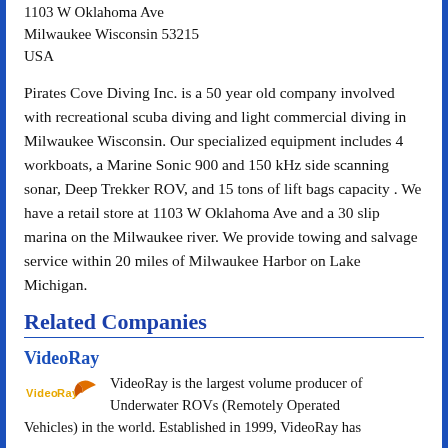1103 W Oklahoma Ave
Milwaukee Wisconsin 53215
USA
Pirates Cove Diving Inc. is a 50 year old company involved with recreational scuba diving and light commercial diving in Milwaukee Wisconsin. Our specialized equipment includes 4 workboats, a Marine Sonic 900 and 150 kHz side scanning sonar, Deep Trekker ROV, and 15 tons of lift bags capacity . We have a retail store at 1103 W Oklahoma Ave and a 30 slip marina on the Milwaukee river. We provide towing and salvage service within 20 miles of Milwaukee Harbor on Lake Michigan.
Related Companies
VideoRay
VideoRay is the largest volume producer of Underwater ROVs (Remotely Operated Vehicles) in the world. Established in 1999, VideoRay has